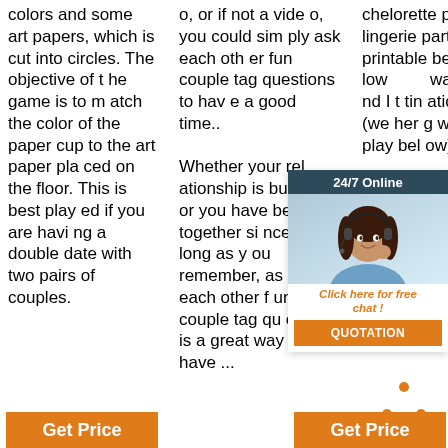colors and some art papers, which is cut into circles. The objective of the game is to match the color of the paper cup to the art paper placed on the floor. This is best played if you are having a double date with two pairs of couples.
o, or if not a video, you could simply ask each other fun couple tag questions to have a good time.. Whether your relationship is budding, or you have been together since as long as you remember, asking each other fun couple tag questions is a great way to have ...
chelorette party, or lingerie party (free printable below) are unique ways to play bel ow) are:
[Figure (infographic): Advertisement widget showing a woman with headset (customer service), dark teal header reading '24/7 Online', body text 'Click here for free chat!', and an orange 'QUOTATION' button]
[Figure (other): Orange 'TOP' text with orange dot triangle icon above it]
Get Price
Get Price